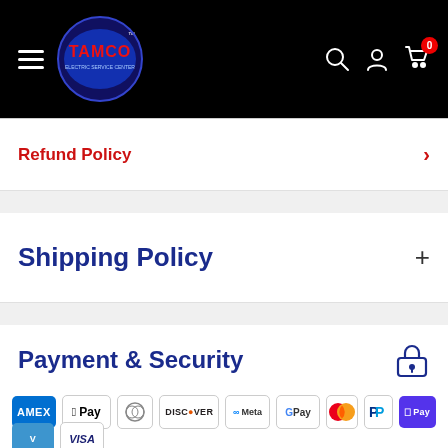[Figure (logo): TAMCO logo with hamburger menu and navigation icons (search, account, cart with 0 badge) on black header background]
Refund Policy
Shipping Policy
Payment & Security
[Figure (other): Payment method icons: Amex, Apple Pay, Diners, Discover, Meta Pay, Google Pay, Mastercard, PayPal, Shop Pay, Venmo, Visa]